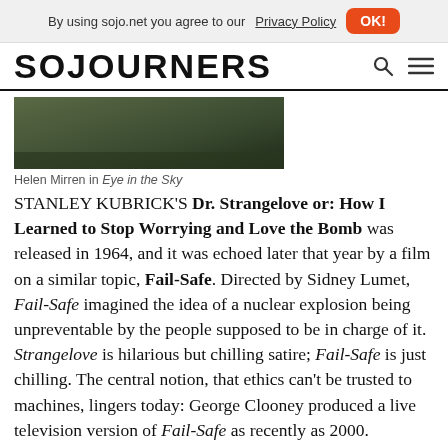By using sojo.net you agree to our Privacy Policy  OK!
SOJOURNERS
[Figure (photo): Dark image, likely a film still with green/dark tones]
Helen Mirren in Eye in the Sky
STANLEY KUBRICK'S Dr. Strangelove or: How I Learned to Stop Worrying and Love the Bomb was released in 1964, and it was echoed later that year by a film on a similar topic, Fail-Safe. Directed by Sidney Lumet, Fail-Safe imagined the idea of a nuclear explosion being unpreventable by the people supposed to be in charge of it. Strangelove is hilarious but chilling satire; Fail-Safe is just chilling. The central notion, that ethics can't be trusted to machines, lingers today: George Clooney produced a live television version of Fail-Safe as recently as 2000.
A current version of the dilemma is brilliantly